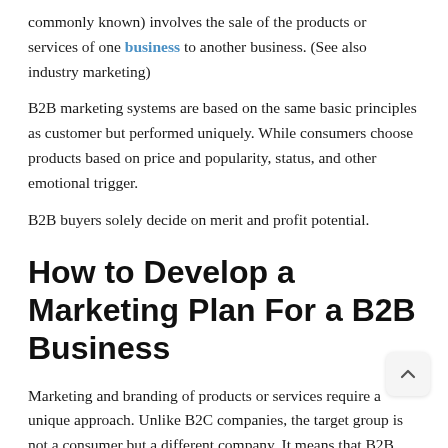commonly known) involves the sale of the products or services of one business to another business. (See also industry marketing)
B2B marketing systems are based on the same basic principles as customer but performed uniquely. While consumers choose products based on price and popularity, status, and other emotional trigger.
B2B buyers solely decide on merit and profit potential.
How to Develop a Marketing Plan For a B2B Business
Marketing and branding of products or services require a unique approach. Unlike B2C companies, the target group is not a consumer but a different company. It means that B2B